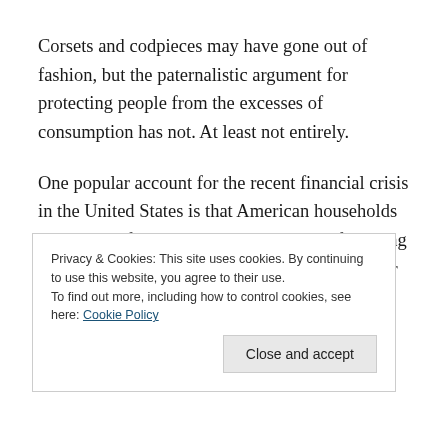Corsets and codpieces may have gone out of fashion, but the paternalistic argument for protecting people from the excesses of consumption has not. At least not entirely.
One popular account for the recent financial crisis in the United States is that American households were living far beyond their means, and financing their spending with risky home mortgages rather than with solid savings. The
Privacy & Cookies: This site uses cookies. By continuing to use this website, you agree to their use.
To find out more, including how to control cookies, see here: Cookie Policy
Close and accept